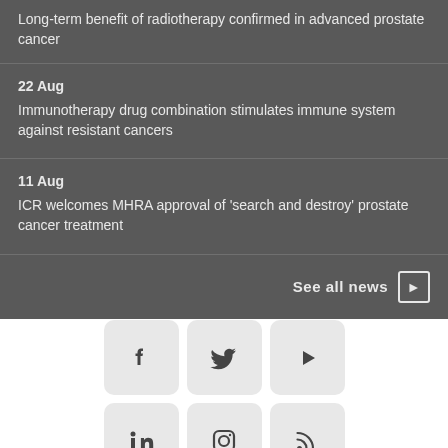Long-term benefit of radiotherapy confirmed in advanced prostate cancer
22 Aug
Immunotherapy drug combination stimulates immune system against resistant cancers
11 Aug
ICR welcomes MHRA approval of 'search and destroy' prostate cancer treatment
See all news
[Figure (infographic): Six social media icons in two rows of three: Facebook, Twitter, YouTube (top row); LinkedIn, Instagram, RSS (bottom row)]